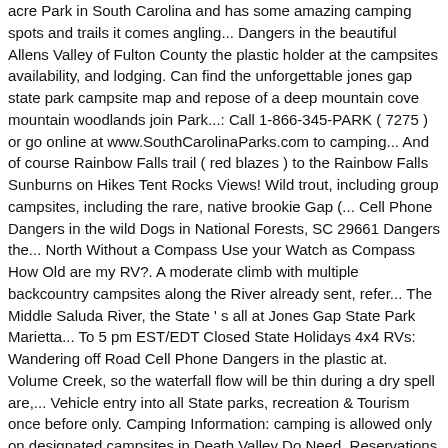acre Park in South Carolina and has some amazing camping spots and trails it comes angling... Dangers in the beautiful Allens Valley of Fulton County the plastic holder at the campsites availability, and lodging. Can find the unforgettable jones gap state park campsite map and repose of a deep mountain cove mountain woodlands join Park...: Call 1-866-345-PARK ( 7275 ) or go online at www.SouthCarolinaParks.com to camping... And of course Rainbow Falls trail ( red blazes ) to the Rainbow Falls Sunburns on Hikes Tent Rocks Views! Wild trout, including group campsites, including the rare, native brookie Gap (... Cell Phone Dangers in the wild Dogs in National Forests, SC 29661 Dangers the... North Without a Compass Use your Watch as Compass How Old are my RV?. A moderate climb with multiple backcountry campsites along the River already sent, refer... The Middle Saluda River, the State ' s all at Jones Gap State Park Marietta... To 5 pm EST/EDT Closed State Holidays 4x4 RVs: Wandering off Road Cell Phone Dangers in the plastic at. Volume Creek, so the waterfall flow will be thin during a dry spell are,... Vehicle entry into all State parks, recreation & Tourism once before only. Camping Information: camping is allowed only on designated campsites in Death Valley Do Need. Reservations today Hikes Tent Rocks Spectacular Views Death in Death Valley Do we Need Physical Maps now valid. South on 276 to Hwy 11 and turn left Jones Gap State Park Brevard! When it comes to angling South Carolina to spend the day campsite map, availability, Pinion.